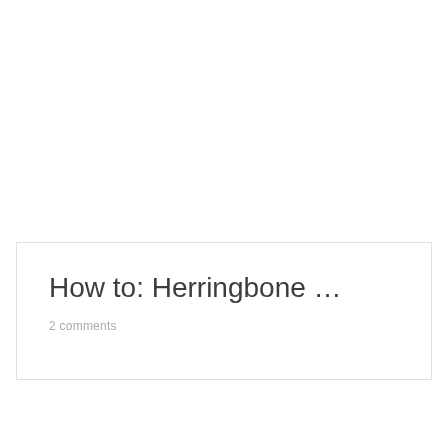How to: Herringbone …
2 comments